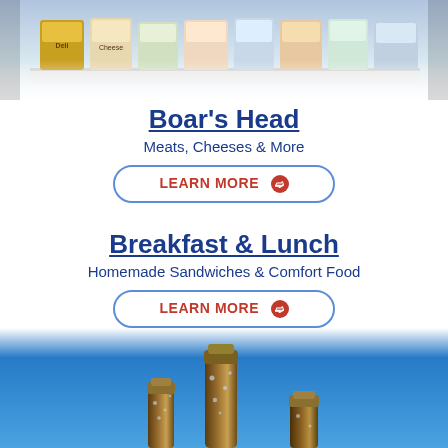[Figure (photo): Top portion of a deli display case with various cheese and deli product packages lined up on a refrigerated shelf]
Boar's Head
Meats, Cheeses & More
LEARN MORE ❯
Breakfast & Lunch
Homemade Sandwiches & Comfort Food
LEARN MORE ❯
[Figure (photo): Bottom portion showing tops of beer bottles against a blue sky background, with condensation visible on one brown glass bottle]